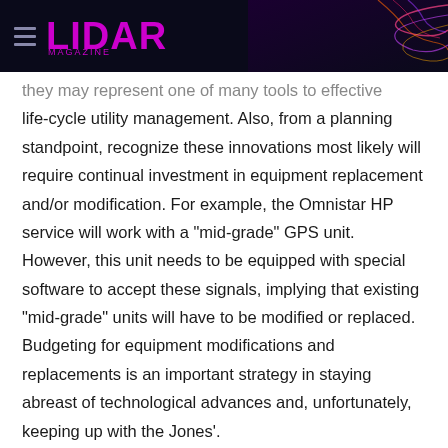LIDAR MAGAZINE
they may represent one of many tools to effective life-cycle utility management. Also, from a planning standpoint, recognize these innovations most likely will require continual investment in equipment replacement and/or modification. For example, the Omnistar HP service will work with a "mid-grade" GPS unit. However, this unit needs to be equipped with special software to accept these signals, implying that existing "mid-grade" units will have to be modified or replaced. Budgeting for equipment modifications and replacements is an important strategy in staying abreast of technological advances and, unfortunately, keeping up with the Jones'.